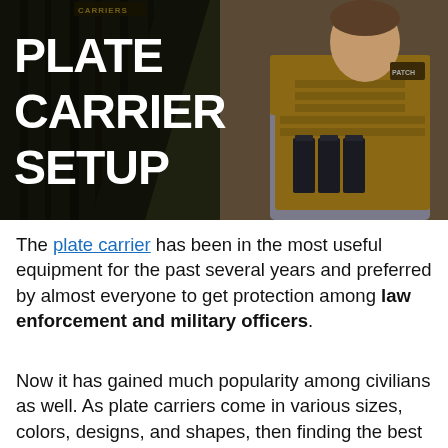[Figure (photo): Hero banner image with text overlay 'PLATE CARRIER SETUP' in large white bold font on left side over a dark woodland background, and a man wearing a tan/coyote plate carrier with magazine pouches on the right side. Small text at top reads 'CARRIERS'.]
The plate carrier has been in the most useful equipment for the past several years and preferred by almost everyone to get protection among law enforcement and military officers.
Now it has gained much popularity among civilians as well. As plate carriers come in various sizes, colors, designs, and shapes, then finding the best one and setting it up properly could be a challenging task for